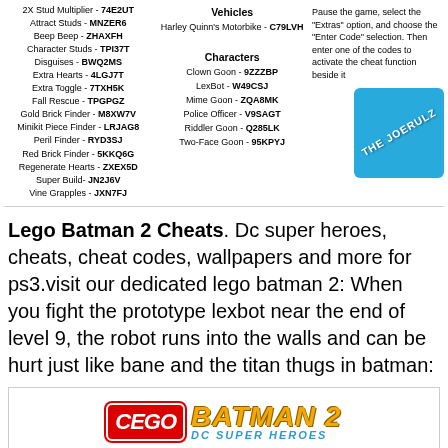2X Stud Multiplier - 74E2UT
Attract Studs - MNZER6
Beep Beep - ZHAXFH
Character Studs - TPI37T
Disguises - BWQ2MS
Extra Hearts - 4LGJ7T
Extra Toggle - 7TXH5K
Fall Rescue - TPGPGZ
Gold Brick Finder - M8XW7V
Minikit Piece Finder - LRJAG8
Peril Finder - RYD3SJ
Red Brick Finder - 5KKQ6G
Regenerate Hearts - ZXEX5D
Super Build- JN2J6V
Vine Grapples - JXN7FJ
Vehicles
Harley Quinn's Motorbike - C79LVH
Characters
Clown Goon - 9ZZZB P
LexBot - W49CSJ
Mime Goon - ZQA8MK
Police Officer - V9SAGT
Riddler Goon - Q285LK
Two-Face Goon - 95KPYJ
Pause the game, select the "Extras" option, and choose the "Enter Code" selection. Then enter one of the codes to activate the cheat function beside it
[Figure (logo): Blue circular logo with text THE JOERULZ]
Lego Batman 2 Cheats. Dc super heroes, cheats, cheat codes, wallpapers and more for ps3.visit our dedicated lego batman 2: When you fight the prototype lexbot near the end of level 9, the robot runs into the walls and can be hurt just like bane and the titan thugs in batman:
[Figure (logo): Lego Batman 2 DC Super Heroes logo]